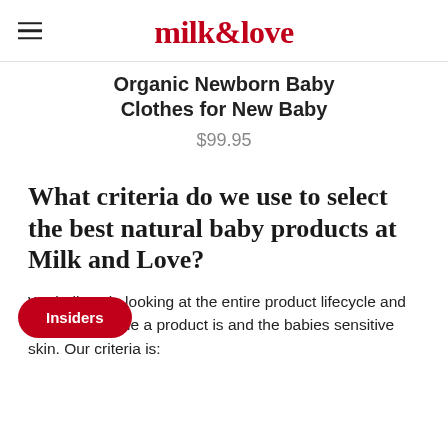milk & love
Organic Newborn Baby Clothes for New Baby
$99.95
What criteria do we use to select the best natural baby products at Milk and Love?
We believe in looking at the entire product lifecycle and how sustainable a product is and the babies sensitive skin. Our criteria is: